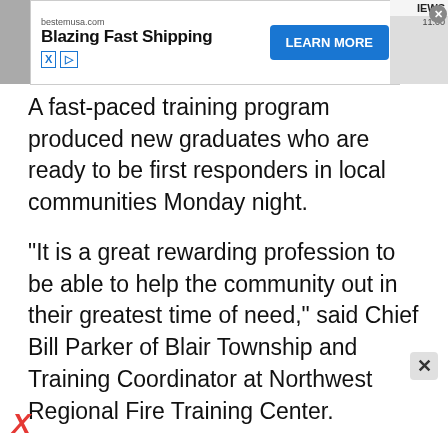[Figure (screenshot): Advertisement banner: bestemusa.com, Blazing Fast Shipping, LEARN MORE button in blue]
A fast-paced training program produced new graduates who are ready to be first responders in local communities Monday night.
“It is a great rewarding profession to be able to help the community out in their greatest time of need,” said Chief Bill Parker of Blair Township and Training Coordinator at Northwest Regional Fire Training Center.
Eighteen firefighters and 14 EMTs walked across the stage, marking their graduation from the first